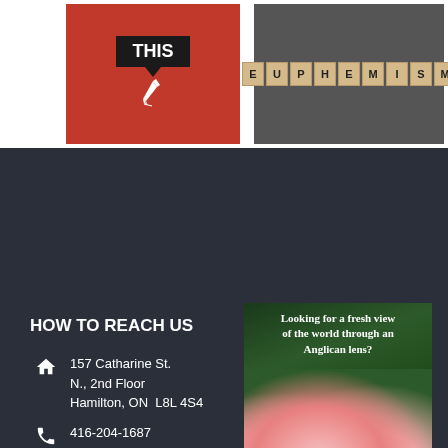[Figure (illustration): Red background image with black speech bubble saying THIS and a pen/quill icon below]
[Figure (illustration): Dark gray background with scrabble tiles spelling EUPHEMISM]
HOW TO REACH US
157 Catharine St. N., 2nd Floor
Hamilton, ON  L8L 4S4
416-204-1687
Email Us
[Figure (illustration): Advertisement for anglicanplanet.com showing pink and white flowers with text: Looking for a fresh view of the world through an Anglican lens? and URL anglicanplanet.com at bottom]